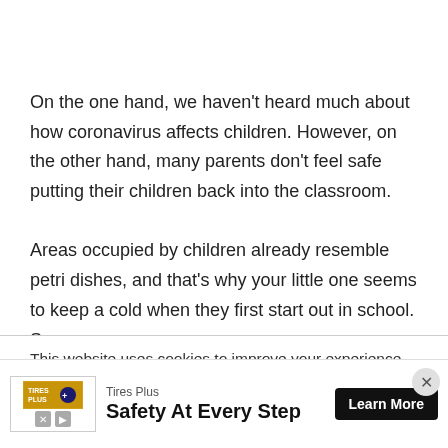On the one hand, we haven’t heard much about how coronavirus affects children. However, on the other hand, many parents don’t feel safe putting their children back into the classroom.

Areas occupied by children already resemble petri dishes, and that’s why your little one seems to keep a cold when they first start out in school. So,
This website uses cookies to improve your experience. We’ll assume you’re ok with this, but you can opt-out if you wish.
[Figure (other): Advertisement banner for Tires Plus with logo, tagline 'Safety At Every Step', and 'Learn More' button]